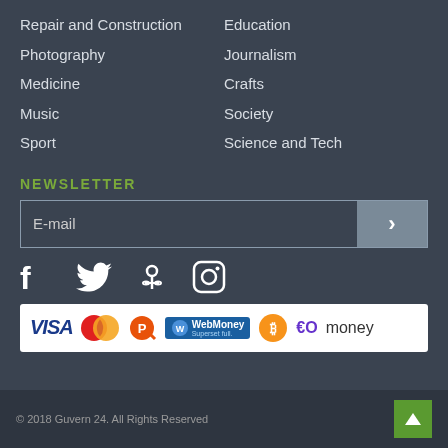Repair and Construction
Education
Photography
Journalism
Medicine
Crafts
Music
Society
Sport
Science and Tech
NEWSLETTER
[Figure (screenshot): Email newsletter signup input field with arrow button]
[Figure (infographic): Social media icons: Facebook, Twitter, Odnoklassniki, Instagram]
[Figure (infographic): Payment method logos: VISA, Mastercard, QIWI, WebMoney, Bitcoin, YooMoney]
© 2018 Guvern 24. All Rights Reserved